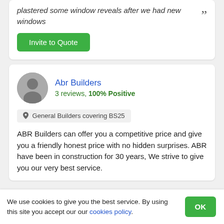plastered some window reveals after we had new windows
Invite to Quote
Abr Builders
3 reviews, 100% Positive
General Builders covering BS25
ABR Builders can offer you a competitive price and give you a friendly honest price with no hidden surprises. ABR have been in construction for 30 years, We strive to give you our very best service.
We use cookies to give you the best service. By using this site you accept our our cookies policy.